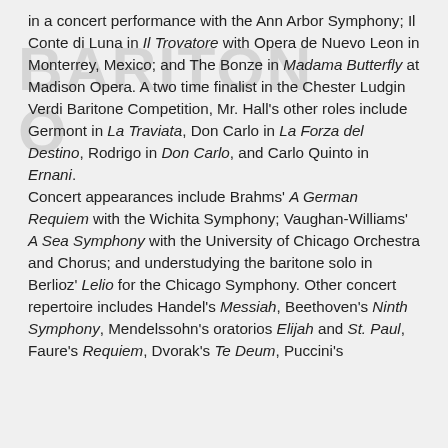in a concert performance with the Ann Arbor Symphony; Il Conte di Luna in Il Trovatore with Opera de Nuevo Leon in Monterrey, Mexico; and The Bonze in Madama Butterfly at Madison Opera. A two time finalist in the Chester Ludgin Verdi Baritone Competition, Mr. Hall's other roles include Germont in La Traviata, Don Carlo in La Forza del Destino, Rodrigo in Don Carlo, and Carlo Quinto in Ernani. Concert appearances include Brahms' A German Requiem with the Wichita Symphony; Vaughan-Williams' A Sea Symphony with the University of Chicago Orchestra and Chorus; and understudying the baritone solo in Berlioz' Lelio for the Chicago Symphony. Other concert repertoire includes Handel's Messiah, Beethoven's Ninth Symphony, Mendelssohn's oratorios Elijah and St. Paul, Faure's Requiem, Dvorak's Te Deum, Puccini's